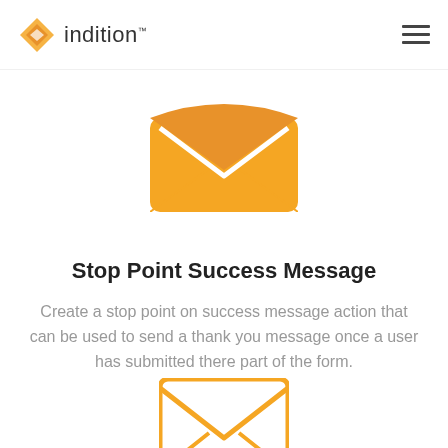indition
[Figure (illustration): Orange filled envelope icon]
Stop Point Success Message
Create a stop point on success message action that can be used to send a thank you message once a user has submitted there part of the form.
[Figure (illustration): Orange outlined envelope icon (partially visible at bottom)]